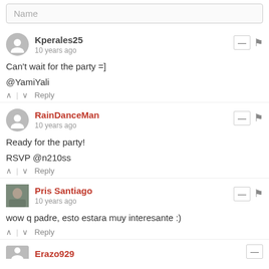Name
Kperales25
10 years ago
Can't wait for the party =]
@YamiYali
Reply
RainDanceMan
10 years ago
Ready for the party!
RSVP @n210ss
Reply
Pris Santiago
10 years ago
wow q padre, esto estara muy interesante :)
Reply
Erazo929